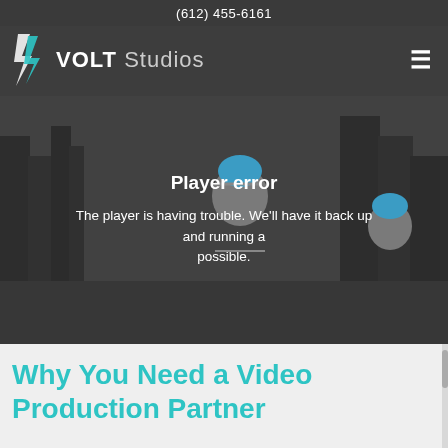(612) 455-6161
[Figure (logo): Volt Studios logo with lightning bolt icon, bold VOLT text and light Studios text]
[Figure (screenshot): Video player showing two people riding bicycles in a city, with a Player error overlay message. The player is having trouble. We'll have it back up and running as soon as possible.]
Why You Need a Video Production Partner